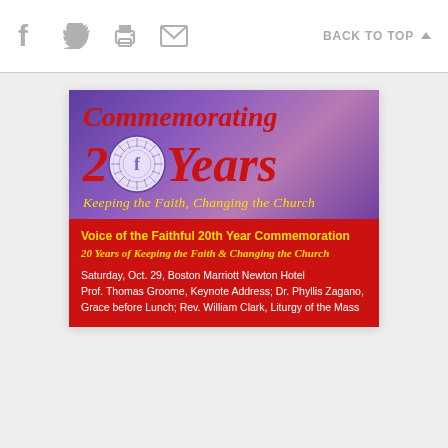f  [twitter]  [print]  [email]    BACK TO TOP ▲
[Figure (illustration): Event flyer for Voice of the Faithful 20th Year Commemoration. Purple gradient background with large red italic text 'Commemorating 20 Years' with organizational circular logo in place of the zero's center, subtitle 'Keeping the Faith, Changing the Church' in yellow italic. Red band at bottom with yellow and white text listing event details.]
Commemorating 20 Years
Keeping the Faith, Changing the Church
Voice of the Faithful 20th Year Commemoration
20 Years of Keeping the Faith & Changing the Church
Saturday, Oct. 29, Boston Marriott Newton Hotel Prof. Thomas Groome, Keynote Address; Dr. Phyllis Zagano, Grace before Lunch; Rev. William Clark, Liturgy of the Mass